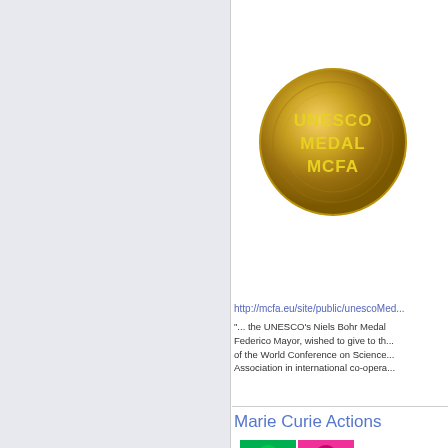[Figure (photo): Gold UNESCO Medal MCFA coin/medal with text UNESCO MEDAL MCFA embossed on it]
http://mcfa.eu/site/public/unescoMed...
"... the UNESCO's Niels Bohr Medal Federico Mayor, wished to give to th... of the World Conference on Science... Association in international co-opera...
Marie Curie Actions
[Figure (logo): Marie Curie Actions logo - four colored squares (green, pink, blue, orange) each with a stylized face silhouette, with ACTIONS text vertically on the right, and MARIE CURIE text at the bottom]